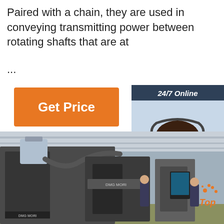Paired with a chain, they are used in conveying transmitting power between rotating shafts that are at
...
[Figure (other): Orange 'Get Price' button]
[Figure (other): 24/7 Online chat widget with a customer service representative photo, 'Click here for free chat!' text, and orange QUOTATION button]
[Figure (photo): Factory floor with CNC machines (DMG MORI brand visible) and workers operating equipment. Orange 'Top' badge in bottom right.]